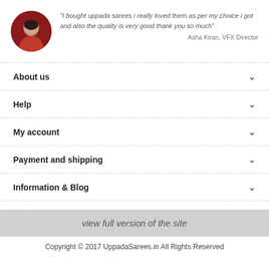[Figure (photo): Circular avatar photo of a woman in a red saree]
"I bought uppada sarees i really loved them as per my choice  i got and also the quality is very good thank you so much"
Asha Kiran, VFX Director
About us
Help
My account
Payment and shipping
Information & Blog
view full version of the site
Copyright © 2017 UppadaSarees.in All Rights Reserved